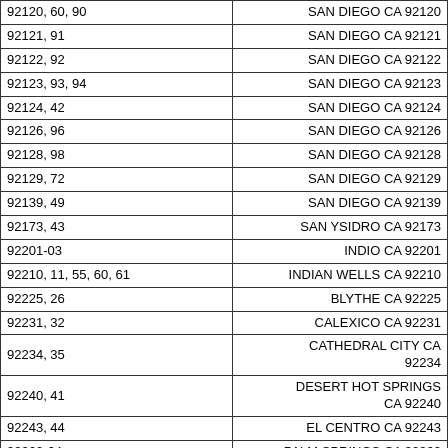| ZIP Code Range | City/Location |
| --- | --- |
| 92120, 60, 90 | SAN DIEGO CA 92120 |
| 92121, 91 | SAN DIEGO CA 92121 |
| 92122, 92 | SAN DIEGO CA 92122 |
| 92123, 93, 94 | SAN DIEGO CA 92123 |
| 92124, 42 | SAN DIEGO CA 92124 |
| 92126, 96 | SAN DIEGO CA 92126 |
| 92128, 98 | SAN DIEGO CA 92128 |
| 92129, 72 | SAN DIEGO CA 92129 |
| 92139, 49 | SAN DIEGO CA 92139 |
| 92173, 43 | SAN YSIDRO CA 92173 |
| 92201-03 | INDIO CA 92201 |
| 92210, 11, 55, 60, 61 | INDIAN WELLS CA 92210 |
| 92225, 26 | BLYTHE CA 92225 |
| 92231, 32 | CALEXICO CA 92231 |
| 92234, 35 | CATHEDRAL CITY CA 92234 |
| 92240, 41 | DESERT HOT SPRINGS CA 92240 |
| 92243, 44 | EL CENTRO CA 92243 |
| 92262-64 | PALM SPRINGS CA 92262 |